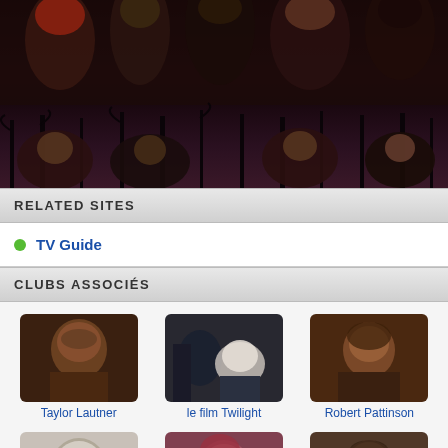[Figure (photo): Twilight movie promotional image showing cast members against a dark, moody background with trees. Top row shows main cast in formal/casual attire, bottom portion shows cast at ground level against twilight sky.]
RELATED SITES
TV Guide
CLUBS ASSOCIÉS
[Figure (photo): Taylor Lautner headshot thumbnail]
Taylor Lautner
[Figure (photo): le film Twilight thumbnail showing couple]
le film Twilight
[Figure (photo): Robert Pattinson headshot thumbnail]
Robert Pattinson
[Figure (photo): Edward Cullon thumbnail]
Edward Cullon
[Figure (photo): Kristen Stewart thumbnail]
Kristen Stewart
[Figure (photo): Jacob Black thumbnail]
Jacob Black